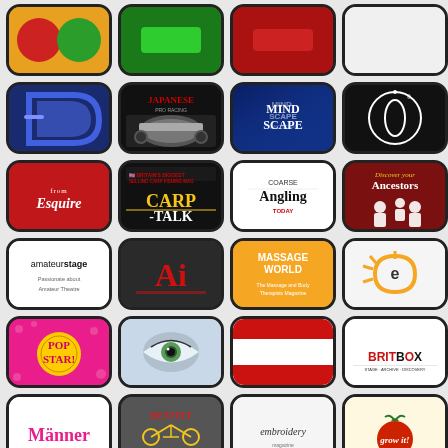[Figure (screenshot): Grid of app icons: Row 1 partial (colorful, green, red, white), Row 2 (blue/purple curve app, Japanese Pro Racing, Mindscape, black logo with oval), Row 3 (Esquire red, Carp Talk fishing mag, Coarse Angling Today, Discover Your Ancestors), Row 4 (Amateur Stage, Ai red logo, Massage World orange, sun-e logo), Row 5 (Pop Star pink, eye photo, red-white-red stripes, Britbox), Row 6 (Manner, Bestfit cycling, embroidery magazine, Grow It tomato)]